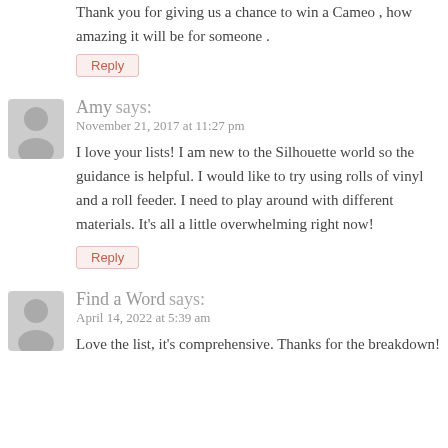Thank you for giving us a chance to win a Cameo , how amazing it will be for someone .
Reply
Amy says:
November 21, 2017 at 11:27 pm
I love your lists! I am new to the Silhouette world so the guidance is helpful. I would like to try using rolls of vinyl and a roll feeder. I need to play around with different materials. It's all a little overwhelming right now!
Reply
Find a Word says:
April 14, 2022 at 5:39 am
Love the list, it's comprehensive. Thanks for the breakdown!